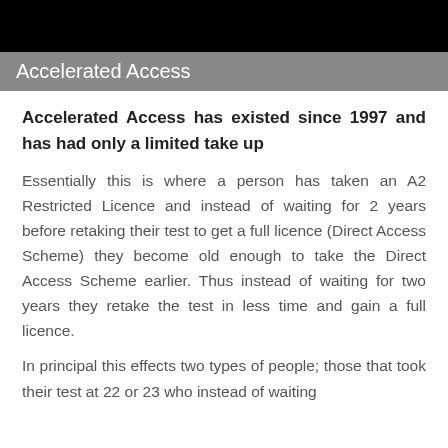Accelerated Access
Accelerated Access has existed since 1997 and has had only a limited take up
Essentially this is where a person has taken an A2 Restricted Licence and instead of waiting for 2 years before retaking their test to get a full licence (Direct Access Scheme) they become old enough to take the Direct Access Scheme earlier. Thus instead of waiting for two years they retake the test in less time and gain a full licence.
In principal this effects two types of people; those that took their test at 22 or 23 who instead of waiting